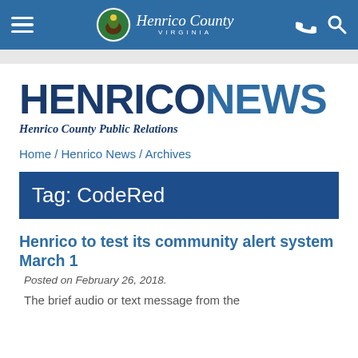Henrico County Virginia — navigation bar
[Figure (logo): Henrico County Virginia seal/logo with county name in italic serif font]
HENRICONEWS — Henrico County Public Relations
Home / Henrico News / Archives
Tag: CodeRed
Henrico to test its community alert system March 1
Posted on February 26, 2018.
The brief audio or text message from the